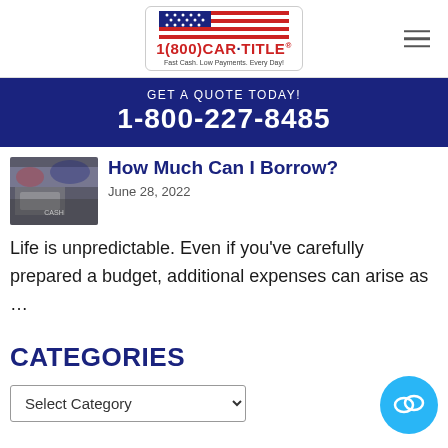[Figure (logo): 1(800)CAR·TITLE logo with American flag design and tagline 'Fast Cash. Low Payments. Every Day!']
GET A QUOTE TODAY!
1-800-227-8485
How Much Can I Borrow?
June 28, 2022
Life is unpredictable. Even if you've carefully prepared a budget, additional expenses can arise as …
CATEGORIES